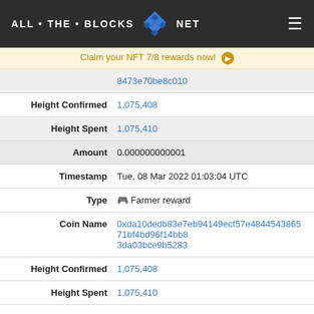ALL • THE • BLOCKS NET
Claim your NFT 7/8 rewards now!
| Field | Value |
| --- | --- |
|  | 8473e70be8c010 |
| Height Confirmed | 1,075,408 |
| Height Spent | 1,075,410 |
| Amount | 0.000000000001 |
| Timestamp | Tue, 08 Mar 2022 01:03:04 UTC |
| Type | Farmer reward |
| Coin Name | 0xda10dedb83e7eb94149ecf57e484454386571bf4bd96f14bb83da03bce9b5283 |
| Height Confirmed | 1,075,408 |
| Height Spent | 1,075,410 |